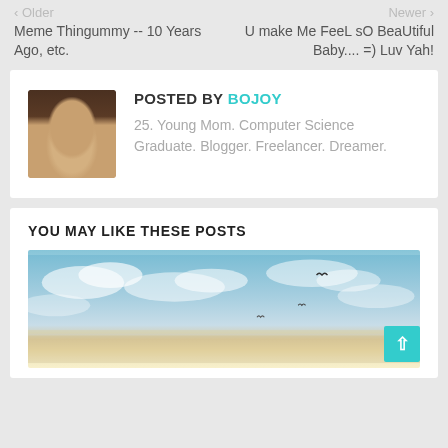‹ Older | Meme Thingummy -- 10 Years Ago, etc.   Newer › | U make Me FeeL sO BeaUtiful Baby.... =) Luv Yah!
POSTED BY BOJOY
25. Young Mom. Computer Science Graduate. Blogger. Freelancer. Dreamer.
YOU MAY LIKE THESE POSTS
[Figure (photo): Scenic sky/ocean photo with birds flying, used as a blog post thumbnail]